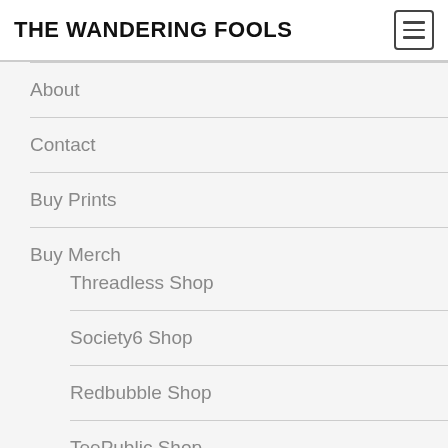THE WANDERING FOOLS
About
Contact
Buy Prints
Buy Merch
Threadless Shop
Society6 Shop
Redbubble Shop
TeePublic Shop